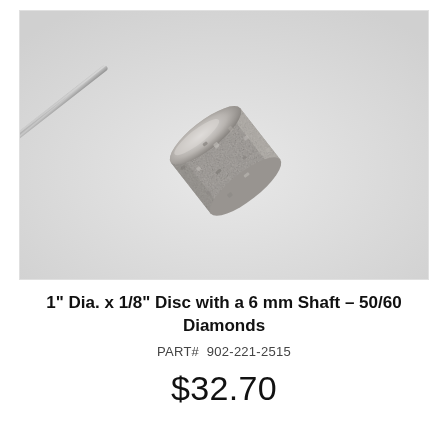[Figure (photo): Close-up photo of a diamond-coated cylindrical grinding disc bit with a 6mm shaft on a light gray background. The cylindrical head has a rough, textured diamond abrasive surface. The thin metal shaft extends from the upper left.]
1" Dia. x 1/8" Disc with a 6 mm Shaft – 50/60 Diamonds
PART# 902-221-2515
$32.70